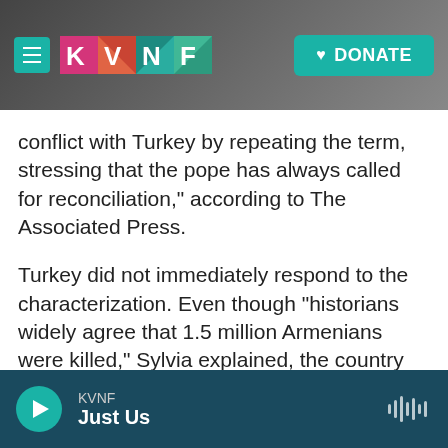[Figure (screenshot): KVNF radio website header with hamburger menu, colorful KVNF logo, and teal DONATE button on dark rocky background]
conflict with Turkey by repeating the term, stressing that the pope has always called for reconciliation," according to The Associated Press.
Turkey did not immediately respond to the characterization. Even though "historians widely agree that 1.5 million Armenians were killed," Sylvia explained, the country "vehemently rejects the accusation of genocide, claiming the number of dead was smaller and that they were victims of civil strife."
KVNF · Just Us